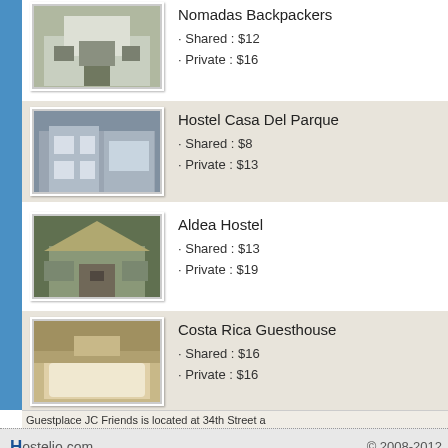Nomadas Backpackers · Shared : $12 · Private : $16
Hostel Casa Del Parque · Shared : $8 · Private : $13
Aldea Hostel · Shared : $13 · Private : $19
Costa Rica Guesthouse · Shared : $16 · Private : $16
Hostel Bekuo · Shared : $11 · Private : $14
Pension de la Cuesta · Shared : $10 · Private : $12
Guestplace JC Friends is located at 34th Street a
Hostelio.com © 2008-2012 Online hostel bookings worldwide with no booking fees.